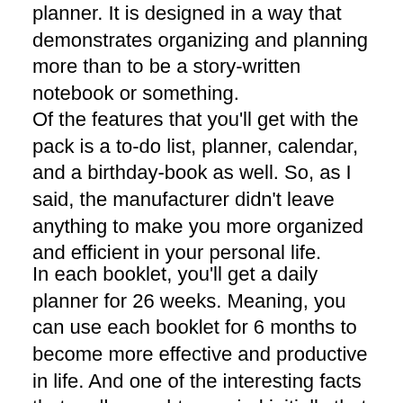planner. It is designed in a way that demonstrates organizing and planning more than to be a story-written notebook or something.
Of the features that you'll get with the pack is a to-do list, planner, calendar, and a birthday-book as well. So, as I said, the manufacturer didn't leave anything to make you more organized and efficient in your personal life.
In each booklet, you'll get a daily planner for 26 weeks. Meaning, you can use each booklet for 6 months to become more effective and productive in life. And one of the interesting facts that really caught my mind initially that it has no dates in the